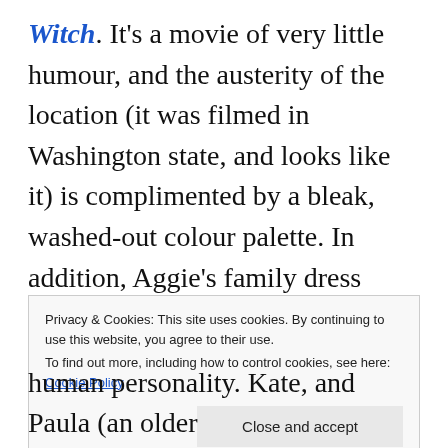Witch. It's a movie of very little humour, and the austerity of the location (it was filmed in Washington state, and looks like it) is complimented by a bleak, washed-out colour palette. In addition, Aggie's family dress exclusively in black, in clothing from another era, which I absolutely loved. Though one of the many script failures of the script is that nobody on Kate's side addresses this, or shares their concerns about what Rose is
Privacy & Cookies: This site uses cookies. By continuing to use this website, you agree to their use. To find out more, including how to control cookies, see here: Cookie Policy
human personality. Kate, and Paula (an older